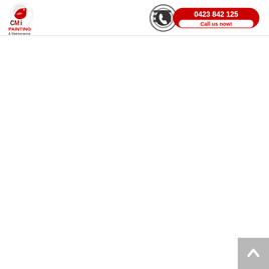CMi Painting & Maintenance | 0423 842 125 | Call us now!
[Figure (logo): CMi Painting & Maintenance logo: red and black bird/brush icon with 'CMi' text, 'PAINTING' in red bold, '& Maintenance' in smaller black text]
[Figure (other): Hamburger menu icon (three horizontal lines)]
[Figure (other): Phone call button with circular signal icon and red pill-shaped button showing '0423 842 125' in red and 'Call us now!' in white on red background]
[Figure (other): Back to top button: grey square with white upward chevron arrow in bottom-right corner]